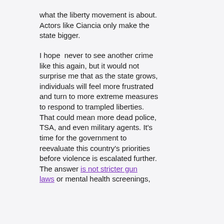what the liberty movement is about. Actors like Ciancia only make the state bigger.

I hope  never to see another crime like this again, but it would not surprise me that as the state grows, individuals will feel more frustrated and turn to more extreme measures to respond to trampled liberties. That could mean more dead police, TSA, and even military agents. It's time for the government to reevaluate this country's priorities before violence is escalated further. The answer is not stricter gun laws or mental health screenings,